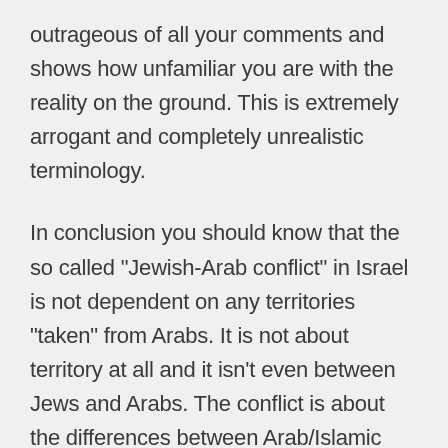outrageous of all your comments and shows how unfamiliar you are with the reality on the ground. This is extremely arrogant and completely unrealistic terminology.
In conclusion you should know that the so called "Jewish-Arab conflict" in Israel is not dependent on any territories "taken" from Arabs. It is not about territory at all and it isn't even between Jews and Arabs. The conflict is about the differences between Arab/Islamic and Western/Jewish culture and the resulting differences in education of future generations. No land for peace appeasement agreements can solve this issue. Change will come only when it is completely and deeply understood that Israel is the homeland of the Jewish people and the education of the next generations is changed